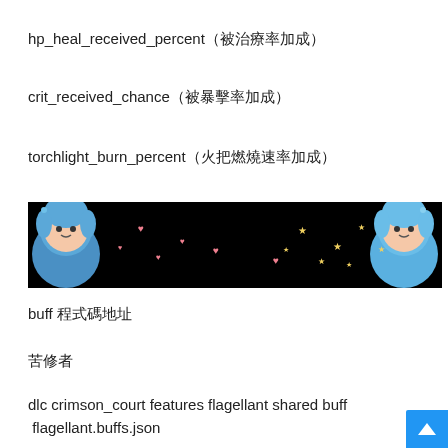hp_heal_received_percent（被治療率加成）
crit_received_chance（被暴擊率加成）
torchlight_burn_percent（火把燃燒速率加成）
[Figure (illustration): Decorative banner with black background, two anime-style blue-haired characters on left and right ends, small pink heart shapes and yellow star shapes scattered across the middle]
buff 程式碼地址
苦修者
dlc crimson_court features flagellant shared buff flagellant.buffs.json